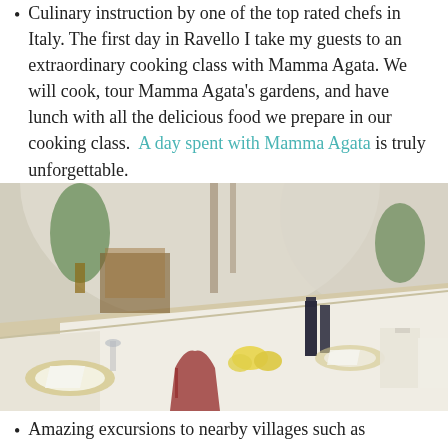Culinary instruction by one of the top rated chefs in Italy. The first day in Ravello I take my guests to an extraordinary cooking class with Mamma Agata. We will cook, tour Mamma Agata's gardens, and have lunch with all the delicious food we prepare in our cooking class. A day spent with Mamma Agata is truly unforgettable.
[Figure (photo): A long dining table set with white tablecloths, fine place settings, wine glasses, wine bottles, and lemons as centerpieces inside an Italian villa or cooking school. Plants and trees are visible in the background.]
Amazing excursions to nearby villages such as Sorrento.
Meaningful Ravello sightseeing including the "Torelli"...